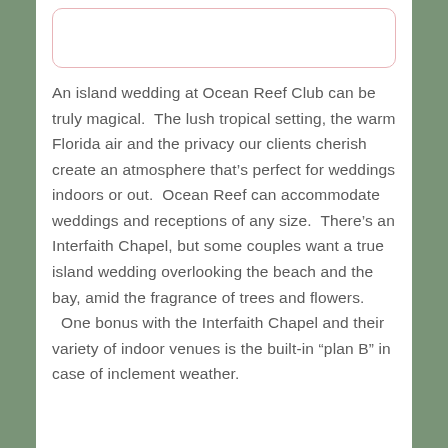[Figure (other): Empty pink-bordered rounded rectangle box at top of page]
An island wedding at Ocean Reef Club can be truly magical.  The lush tropical setting, the warm Florida air and the privacy our clients cherish create an atmosphere that’s perfect for weddings indoors or out.  Ocean Reef can accommodate weddings and receptions of any size.  There’s an Interfaith Chapel, but some couples want a true island wedding overlooking the beach and the bay, amid the fragrance of trees and flowers.  One bonus with the Interfaith Chapel and their variety of indoor venues is the built-in “plan B” in case of inclement weather.